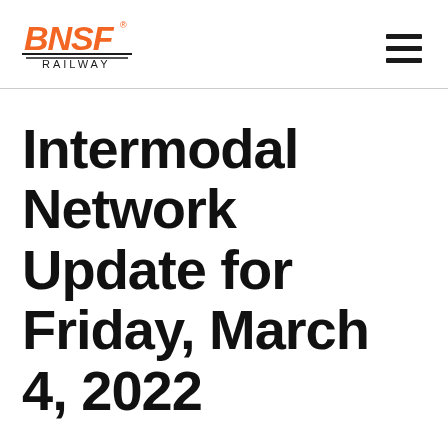[Figure (logo): BNSF Railway logo with orange bold text and diagonal black lines underneath, with 'RAILWAY' in smaller text below]
Intermodal Network Update for Friday, March 4, 2022